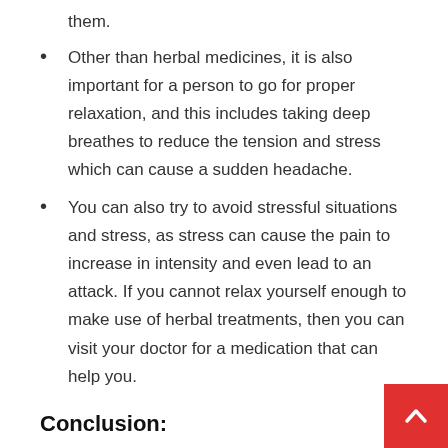them.
Other than herbal medicines, it is also important for a person to go for proper relaxation, and this includes taking deep breathes to reduce the tension and stress which can cause a sudden headache.
You can also try to avoid stressful situations and stress, as stress can cause the pain to increase in intensity and even lead to an attack. If you cannot relax yourself enough to make use of herbal treatments, then you can visit your doctor for a medication that can help you.
Conclusion:
It is also important for the person to follow a good diet plan so that the symptoms caused due to th